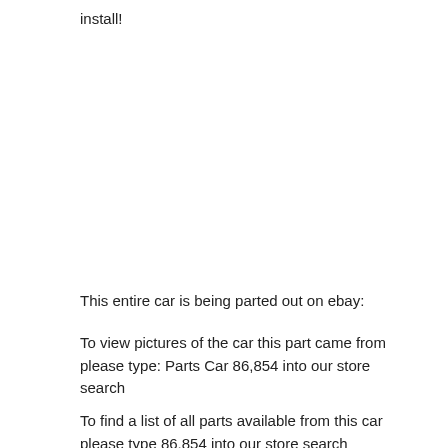install!
This entire car is being parted out on ebay:
To view pictures of the car this part came from please type: Parts Car 86,854 into our store search
To find a list of all parts available from this car please type 86,854 into our store search